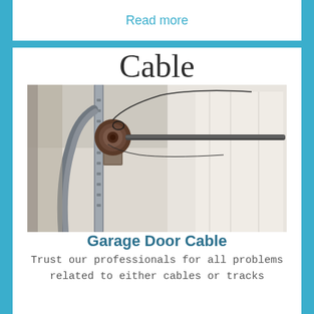Read more
Cable
[Figure (photo): Close-up photo of a garage door cable drum and torsion bar mechanism, showing the metal track, cable drum with wound cable, and torsion rod extending horizontally across the top of the garage door frame.]
Garage Door Cable
Trust our professionals for all problems related to either cables or tracks